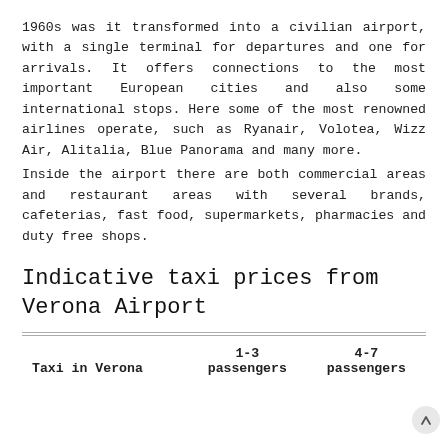1960s was it transformed into a civilian airport, with a single terminal for departures and one for arrivals. It offers connections to the most important European cities and also some international stops. Here some of the most renowned airlines operate, such as Ryanair, Volotea, Wizz Air, Alitalia, Blue Panorama and many more.
Inside the airport there are both commercial areas and restaurant areas with several brands, cafeterias, fast food, supermarkets, pharmacies and duty free shops.
Indicative taxi prices from Verona Airport
| Taxi in Verona | 1-3 passengers | 4-7 passengers |
| --- | --- | --- |